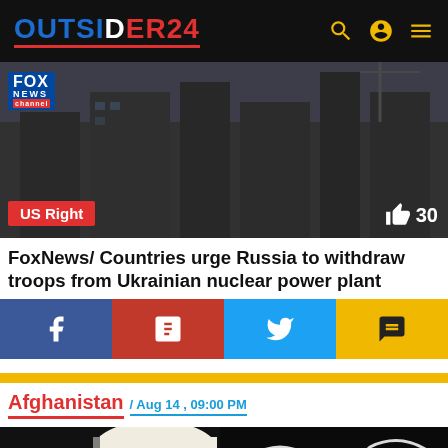OUTSIDER24
[Figure (photo): Fox News channel screenshot overlay on a photo of a nuclear power plant building. Tags: US Right, thumbs up icon with count 30.]
FoxNews/ Countries urge Russia to withdraw troops from Ukrainian nuclear power plant
[Figure (infographic): Social share buttons row: Facebook (blue), Parler (red), Twitter (cyan), Comments/chat (yellow-orange)]
[Figure (infographic): Yellow horizontal divider bar]
Afghanistan / Aug 14 , 09:00 PM
[Figure (photo): Photo of a man wearing a white turban and glasses, with Arabic calligraphy visible in the dark background.]